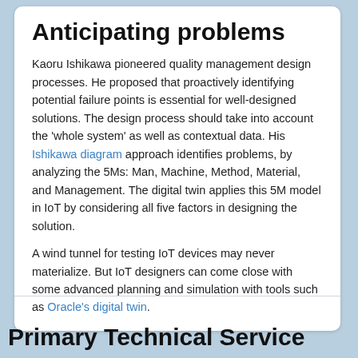Anticipating problems
Kaoru Ishikawa pioneered quality management design processes. He proposed that proactively identifying potential failure points is essential for well-designed solutions. The design process should take into account the 'whole system' as well as contextual data. His Ishikawa diagram approach identifies problems, by analyzing the 5Ms: Man, Machine, Method, Material, and Management. The digital twin applies this 5M model in IoT by considering all five factors in designing the solution.
A wind tunnel for testing IoT devices may never materialize. But IoT designers can come close with some advanced planning and simulation with tools such as Oracle's digital twin.
Primary Technical Service